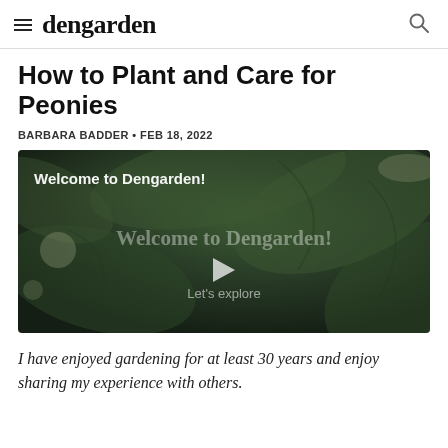dengarden
How to Plant and Care for Peonies
BARBARA BADDER • FEB 18, 2022
[Figure (screenshot): Video thumbnail showing dark green leaves background with text 'Welcome to Dengarden!' at top left, large faded text 'Welcome to Dengarden!' in center with a play button triangle and 'Let's explore' subtitle below]
I have enjoyed gardening for at least 30 years and enjoy sharing my experience with others.